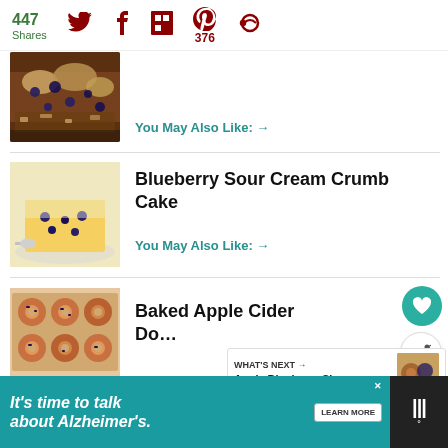447 Shares — social sharing bar with Twitter, Facebook, Flipboard, Pinterest (376), and another icon
[Figure (photo): Close-up photo of a baked berry crumble or cobbler with blueberries and crumb topping]
You May Also Like: →
[Figure (photo): Slice of Blueberry Sour Cream Crumb Cake with powdered sugar on a plate]
Blueberry Sour Cream Crumb Cake
You May Also Like: →
[Figure (photo): Baked Apple Cider Donuts in a baking pan]
Baked Apple Cider Do…
[Figure (photo): What's Next thumbnail — Apple Blueberry Sl…]
WHAT'S NEXT → Apple Blueberry Sl...
[Figure (infographic): Advertisement banner: It's time to talk about Alzheimer's. LEARN MORE. Alzheimer's Association logo.]